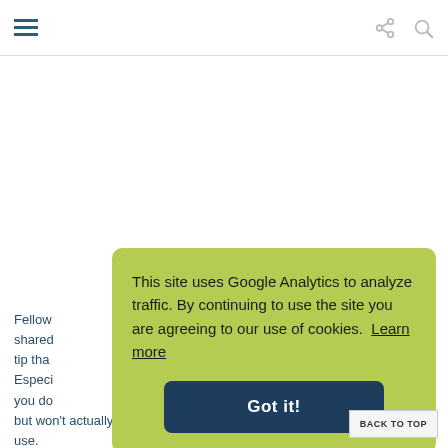Navigation header with hamburger menu, share icon, and search icon
Fellow shared tip tha Especi you do but won't actually use.
This site uses Google Analytics to analyze traffic. By continuing to use the site you are agreeing to our use of cookies. Learn more
Got it!
BACK TO TOP